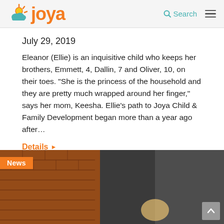Joya — Search (navigation bar)
July 29, 2019
Eleanor (Ellie) is an inquisitive child who keeps her brothers, Emmett, 4, Dallin, 7 and Oliver, 10, on their toes. “She is the princess of the household and they are pretty much wrapped around her finger,” says her mom, Keesha. Ellie’s path to Joya Child & Family Development began more than a year ago after…
Details ▸
[Figure (photo): Photo of a child with a brick wall and dark background behind them, with a 'News' badge overlay in the lower portion of the page.]